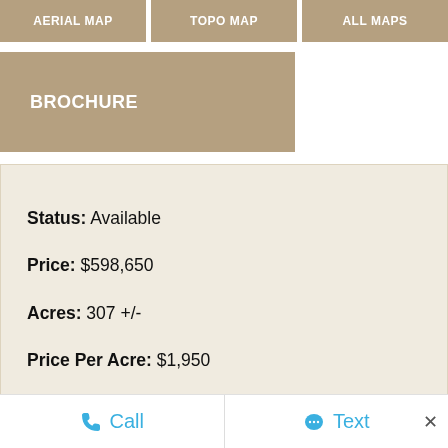AERIAL MAP | TOPO MAP | ALL MAPS
BROCHURE
Status: Available
Price: $598,650
Acres: 307 +/-
Price Per Acre: $1,950
Type: Hunting Land, Ranches, Recreational Land, Timberland
Address: 00 Grand Avenue
City, State: Haskell, Arkansas
County: Saline
Call   Text